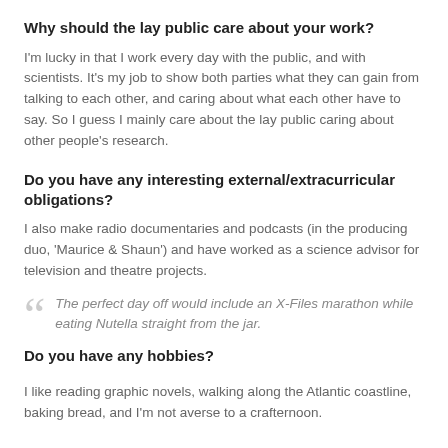Why should the lay public care about your work?
I'm lucky in that I work every day with the public, and with scientists. It's my job to show both parties what they can gain from talking to each other, and caring about what each other have to say. So I guess I mainly care about the lay public caring about other people's research.
Do you have any interesting external/extracurricular obligations?
I also make radio documentaries and podcasts (in the producing duo, 'Maurice & Shaun') and have worked as a science advisor for television and theatre projects.
The perfect day off would include an X-Files marathon while eating Nutella straight from the jar.
Do you have any hobbies?
I like reading graphic novels, walking along the Atlantic coastline, baking bread, and I'm not averse to a crafternoon.